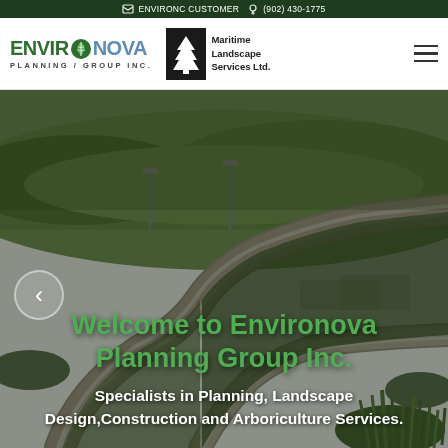ENVIRONC CUSTOMER  (902) 430-1775
[Figure (logo): Environova Planning Group Inc. logo with green leaf icon and blue NOVA text]
[Figure (logo): Maritime Landscape Services Ltd. logo with pine tree in black box]
[Figure (photo): Aerial/perspective view of winding paved pathway through landscaped green grass areas with concrete curbing and ornamental grasses]
Welcome to Environova Planning Group Inc.
Specialists in Planning, Landscape Design,Construction and Arboriculture Services.